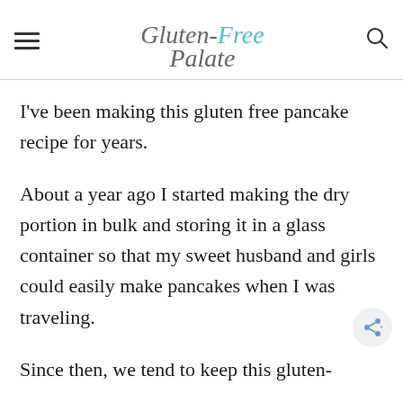Gluten-Free Palate
I've been making this gluten free pancake recipe for years.
About a year ago I started making the dry portion in bulk and storing it in a glass container so that my sweet husband and girls could easily make pancakes when I was traveling.
Since then, we tend to keep this gluten-